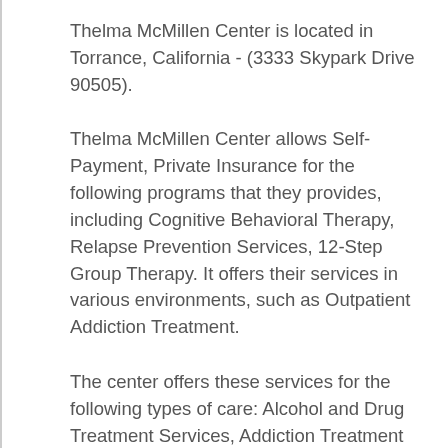Thelma McMillen Center is located in Torrance, California - (3333 Skypark Drive 90505).
Thelma McMillen Center allows Self-Payment, Private Insurance for the following programs that they provides, including Cognitive Behavioral Therapy, Relapse Prevention Services, 12-Step Group Therapy. It offers their services in various environments, such as Outpatient Addiction Treatment.
The center offers these services for the following types of care: Alcohol and Drug Treatment Services, Addiction Treatment Services. Additionally, the center has a few